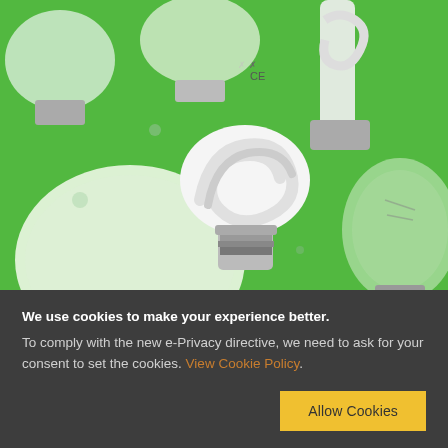[Figure (photo): Collection of various light bulbs including CFL spiral bulbs and incandescent bulbs arranged on a bright green background, viewed from above/side angle.]
We use cookies to make your experience better. To comply with the new e-Privacy directive, we need to ask for your consent to set the cookies. View Cookie Policy.
Allow Cookies